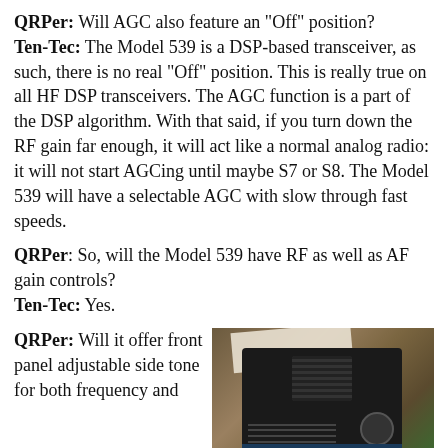QRPer: Will AGC also feature an “Off” position?
Ten-Tec: The Model 539 is a DSP-based transceiver, as such, there is no real “Off” position. This is really true on all HF DSP transceivers. The AGC function is a part of the DSP algorithm. With that said, if you turn down the RF gain far enough, it will act like a normal analog radio: it will not start AGCing until maybe S7 or S8. The Model 539 will have a selectable AGC with slow through fast speeds.
QRPer: So, will the Model 539 have RF as well as AF gain controls?
Ten-Tec: Yes.
QRPer: Will it offer front panel adjustable side tone for both frequency and
[Figure (photo): Photo of a Ten-Tec Model 539 transceiver radio sitting on a wooden surface outdoors, with green grass visible in the background. The radio is black with a speaker grille, ventilation slots, a display, and a large knob on the right side. A piece of paper is visible on top of the radio.]